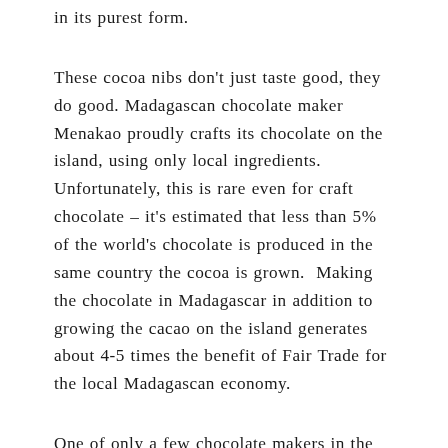in its purest form.
These cocoa nibs don't just taste good, they do good. Madagascan chocolate maker Menakao proudly crafts its chocolate on the island, using only local ingredients. Unfortunately, this is rare even for craft chocolate – it's estimated that less than 5% of the world's chocolate is produced in the same country the cocoa is grown. Making the chocolate in Madagascar in addition to growing the cacao on the island generates about 4-5 times the benefit of Fair Trade for the local Madagascan economy.
One of only a few chocolate makers in the world that make chocolate at the source, Madagascar-based Menakao produce a deliciously fruity